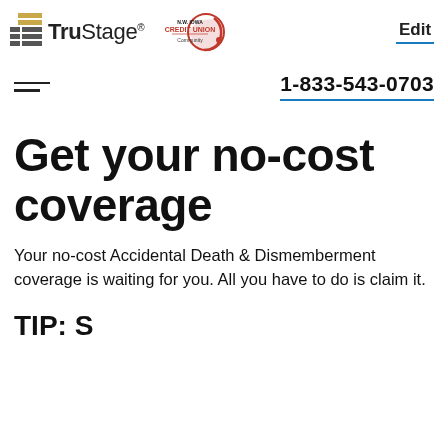[Figure (logo): TruStage logo with stacked bar icon on left and N.W. Iowa Credit Union Community logo on right, with Edit button]
1-833-543-0703
Get your no-cost coverage
Your no-cost Accidental Death & Dismemberment coverage is waiting for you. All you have to do is claim it.
TIP: S...